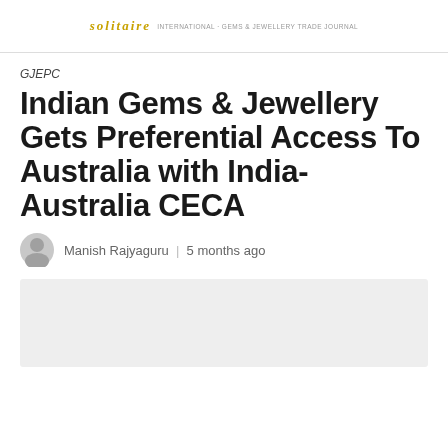SOLITAIRE INTERNATIONAL
GJEPC
Indian Gems & Jewellery Gets Preferential Access To Australia with India-Australia CECA
Manish Rajyaguru | 5 months ago
[Figure (photo): Placeholder image area, light gray background]